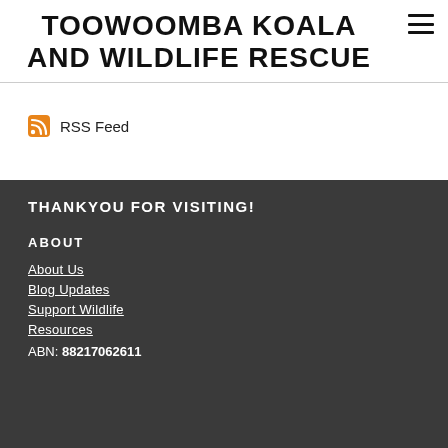TOOWOOMBA KOALA AND WILDLIFE RESCUE
RSS Feed
THANKYOU FOR VISITING!
ABOUT
About Us
Blog Updates
Support Wildlife
Resources
ABN: 88217062611